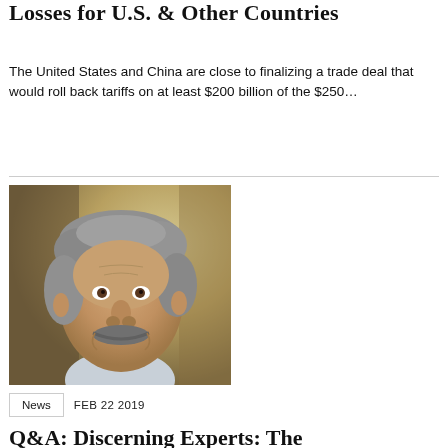Losses for U.S. & Other Countries
The United States and China are close to finalizing a trade deal that would roll back tariffs on at least $200 billion of the $250…
[Figure (photo): Portrait photo of an older man with grey curly hair and a grey mustache, smiling, in an outdoor setting with blurred background]
News   FEB 22 2019
Q&A: Discerning Experts: The